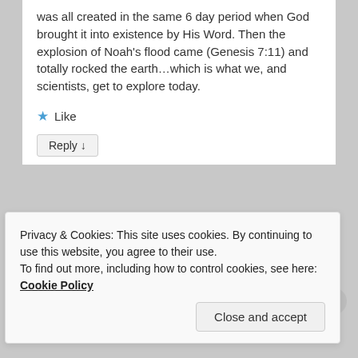was all created in the same 6 day period when God brought it into existence by His Word. Then the explosion of Noah's flood came (Genesis 7:11) and totally rocked the earth…which is what we, and scientists, get to explore today.
★ Like
Reply ↓
mlmcbride33
on 05/09/2013 at 10:02 AM said:
Privacy & Cookies: This site uses cookies. By continuing to use this website, you agree to their use.
To find out more, including how to control cookies, see here: Cookie Policy
Close and accept